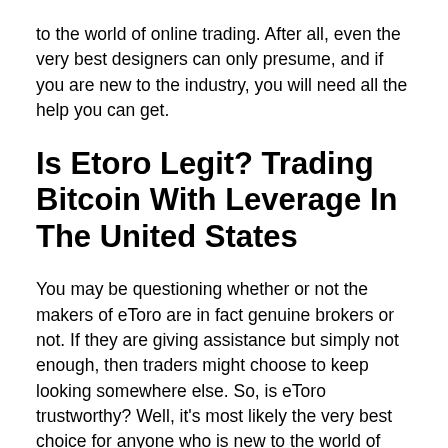to the world of online trading. After all, even the very best designers can only presume, and if you are new to the industry, you will need all the help you can get.
Is Etoro Legit? Trading Bitcoin With Leverage In The United States
You may be questioning whether or not the makers of eToro are in fact genuine brokers or not. If they are giving assistance but simply not enough, then traders might choose to keep looking somewhere else. So, is eToro trustworthy? Well, it's most likely the very best choice for anyone who is new to the world of online trading. Even if you are